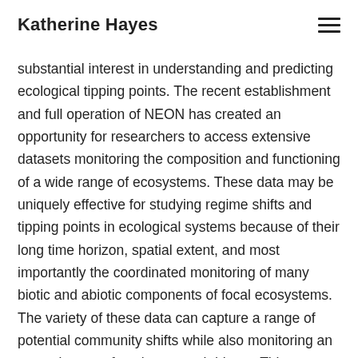Katherine Hayes
substantial interest in understanding and predicting ecological tipping points. The recent establishment and full operation of NEON has created an opportunity for researchers to access extensive datasets monitoring the composition and functioning of a wide range of ecosystems. These data may be uniquely effective for studying regime shifts and tipping points in ecological systems because of their long time horizon, spatial extent, and most importantly the coordinated monitoring of many biotic and abiotic components of focal ecosystems. The variety of these data can capture a range of potential community shifts while also monitoring an extensive set of environmental drivers. This combination is critical for assessing whether changes are